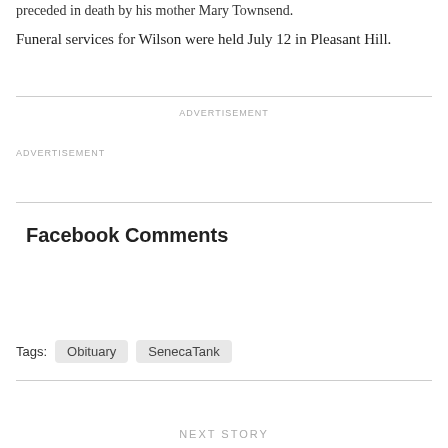preceded in death by his mother Mary Townsend.
Funeral services for Wilson were held July 12 in Pleasant Hill.
ADVERTISEMENT
ADVERTISEMENT
Facebook Comments
Tags:
Obituary
SenecaTank
NEXT STORY